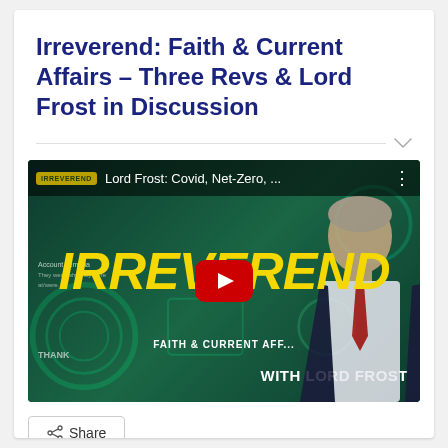Irreverend: Faith & Current Affairs – Three Revs & Lord Frost in Discussion
[Figure (screenshot): YouTube video thumbnail for 'Irreverend: Faith & Current Affairs' podcast episode featuring Lord Frost. Green-themed thumbnail with large yellow italic 'IRREVEREND' text, a YouTube play button in the center, text reading 'Lord Frost: Covid, Net-Zero, ...' in the top bar, 'FAITH & CURRENT AFF...' below the logo, 'WITH LORD FROST' at the bottom right, and a man in a suit and tie on the right side.]
Share